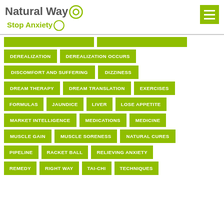[Figure (logo): Natural Way Stop Anxiety logo with circular icon]
DEREALIZATION
DEREALIZATION OCCURS
DISCOMFORT AND SUFFERING
DIZZINESS
DREAM THERAPY
DREAM TRANSLATION
EXERCISES
FORMULAS
JAUNDICE
LIVER
LOSE APPETITE
MARKET INTELLIGENCE
MEDICATIONS
MEDICINE
MUSCLE GAIN
MUSCLE SORENESS
NATURAL CURES
PIPELINE
RACKET BALL
RELIEVING ANXIETY
REMEDY
RIGHT WAY
TAI-CHI
TECHNIQUES